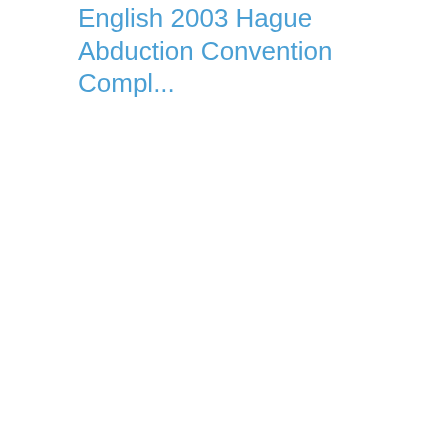English 2003 Hague Abduction Convention Compl...